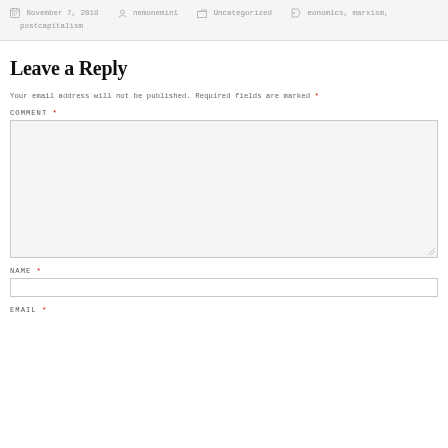November 7, 2018  nemonemini  Uncategorized  eonomics, marxism, postcapitalism
Leave a Reply
Your email address will not be published. Required fields are marked *
COMMENT *
NAME *
EMAIL *